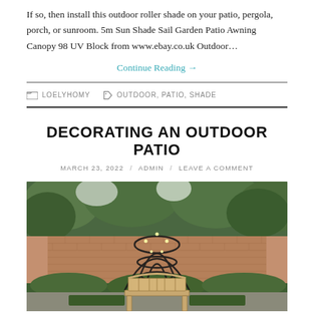If so, then install this outdoor roller shade on your patio, pergola, porch, or sunroom. 5m Sun Shade Sail Garden Patio Awning Canopy 98 UV Block from www.ebay.co.uk Outdoor…
Continue Reading →
LOELYHOMY   OUTDOOR, PATIO, SHADE
DECORATING AN OUTDOOR PATIO
MARCH 23, 2022 / ADMIN / LEAVE A COMMENT
[Figure (photo): Outdoor garden patio with a brick wall, green trees and hedges, a metal arch trellis structure with string lights, and a wooden bench in the foreground.]